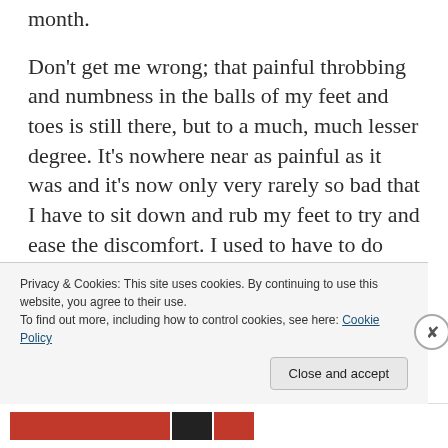month.
Don't get me wrong; that painful throbbing and numbness in the balls of my feet and toes is still there, but to a much, much lesser degree. It's nowhere near as painful as it was and it's now only very rarely so bad that I have to sit down and rub my feet to try and ease the discomfort. I used to have to do that pretty regularly. It no longer wakes me up at night. In fact sometimes it's not even there when I wake up. This is still slightly disconcerting as I'd got so used to it; I
Privacy & Cookies: This site uses cookies. By continuing to use this website, you agree to their use.
To find out more, including how to control cookies, see here: Cookie Policy
Close and accept